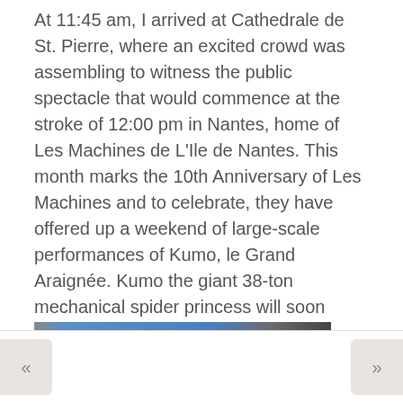At 11:45 am, I arrived at Cathedrale de St. Pierre, where an excited crowd was assembling to witness the public spectacle that would commence at the stroke of 12:00 pm in Nantes, home of Les Machines de L'Ile de Nantes. This month marks the 10th Anniversary of Les Machines and to celebrate, they have offered up a weekend of large-scale performances of Kumo, le Grand Araignée. Kumo the giant 38-ton mechanical spider princess will soon crawl the streets of downtown Nantes through the focused control of a team of puppeteer technicians. Les Machines brings art into the center of civic life, transforming the ordinary into the extraordinary.
[Figure (photo): A partial photo strip visible at the bottom of the text area, showing a blue and dark colored image, likely of the Kumo mechanical spider event.]
« »